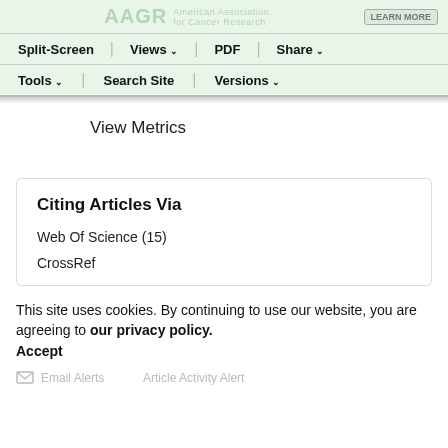Split-Screen | Views | PDF | Share | Tools | Search Site | Versions
View Metrics
Citing Articles Via
Web Of Science (15)
CrossRef
This site uses cookies. By continuing to use our website, you are agreeing to our privacy policy. Accept
Article Activity Alert